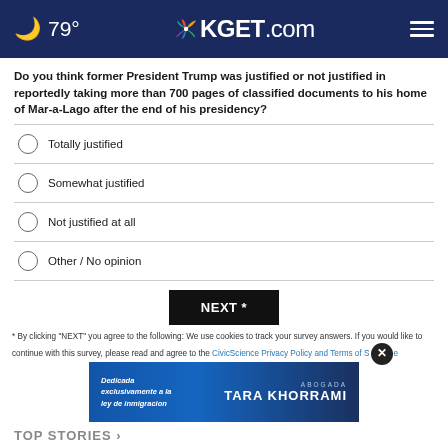79° KGET.com
Do you think former President Trump was justified or not justified in reportedly taking more than 700 pages of classified documents to his home of Mar-a-Lago after the end of his presidency?
Totally justified
Somewhat justified
Not justified at all
Other / No opinion
NEXT *
* By clicking "NEXT" you agree to the following: We use cookies to track your survey answers. If you would like to continue with this survey, please read and agree to the CivicScience Privacy Policy and Terms of Service
[Figure (other): Advertisement banner for Abogada Tara Khorrami immigration law firm, blue background with text in Spanish: Dedicada exclusivamente a la ley de inmigracion]
TOP STORIES >